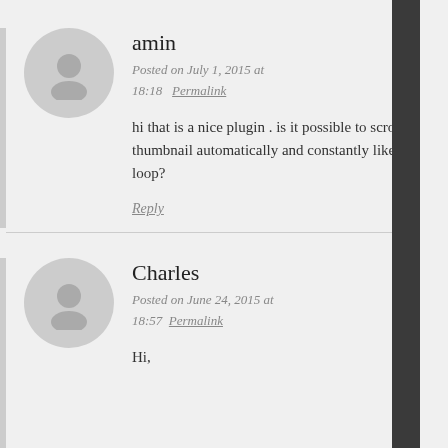amin
Posted on July 1, 2015 at 18:18  Permalink
hi that is a nice plugin . is it possible to scroll thumbnail automatically and constantly like a loop?
Reply
Charles
Posted on June 24, 2015 at 18:57  Permalink
Hi,